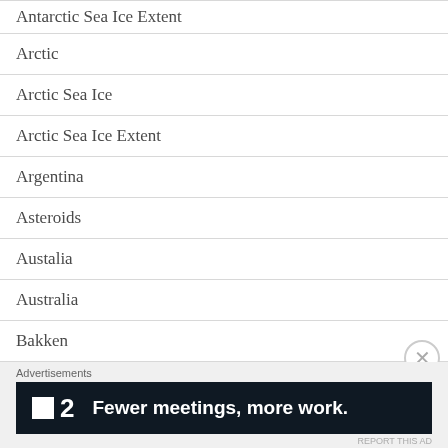Antarctic Sea Ice Extent
Arctic
Arctic Sea Ice
Arctic Sea Ice Extent
Argentina
Asteroids
Austalia
Australia
Bakken
Bats
BBC
[Figure (other): Advertisement banner: Fewer meetings, more work. (P2 logo)]